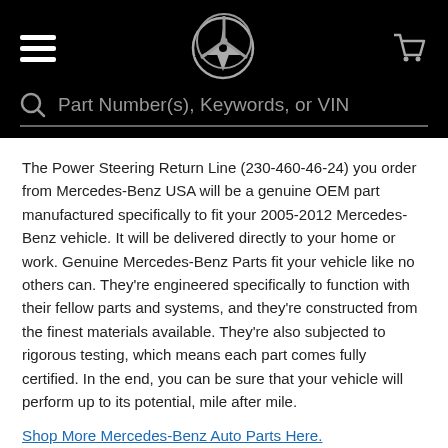Mercedes-Benz navigation header with hamburger menu, Mercedes star logo, cart icon, and search bar with placeholder 'Part Number(s), Keywords, or VIN'
The Power Steering Return Line (230-460-46-24) you order from Mercedes-Benz USA will be a genuine OEM part manufactured specifically to fit your 2005-2012 Mercedes-Benz vehicle. It will be delivered directly to your home or work. Genuine Mercedes-Benz Parts fit your vehicle like no others can. They're engineered specifically to function with their fellow parts and systems, and they're constructed from the finest materials available. They're also subjected to rigorous testing, which means each part comes fully certified. In the end, you can be sure that your vehicle will perform up to its potential, mile after mile.
Shop More Mercedes-Benz Auto Parts Here.
Policies
Shipping Policy